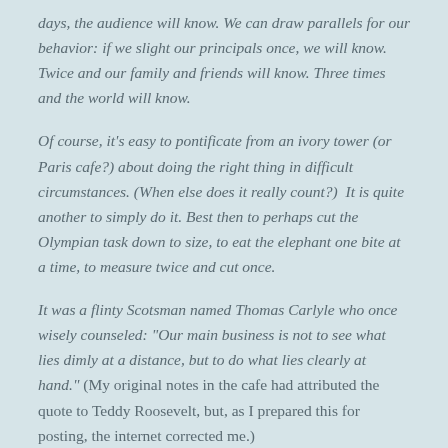days, the audience will know. We can draw parallels for our behavior: if we slight our principals once, we will know. Twice and our family and friends will know. Three times and the world will know.
Of course, it's easy to pontificate from an ivory tower (or Paris cafe?) about doing the right thing in difficult circumstances. (When else does it really count?) It is quite another to simply do it. Best then to perhaps cut the Olympian task down to size, to eat the elephant one bite at a time, to measure twice and cut once.
It was a flinty Scotsman named Thomas Carlyle who once wisely counseled: "Our main business is not to see what lies dimly at a distance, but to do what lies clearly at hand." (My original notes in the cafe had attributed the quote to Teddy Roosevelt, but, as I prepared this for posting, the internet corrected me.)